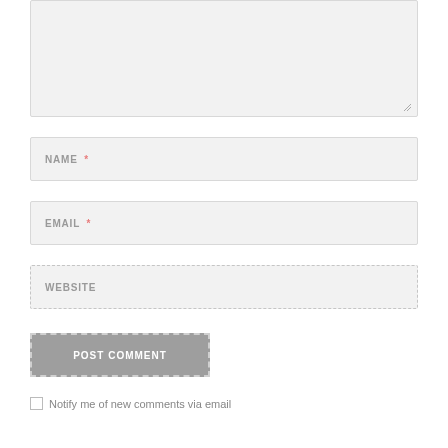[Figure (screenshot): A comment form textarea (large, gray, resizable input box) at the top of the page]
NAME *
EMAIL *
WEBSITE
POST COMMENT
Notify me of new comments via email